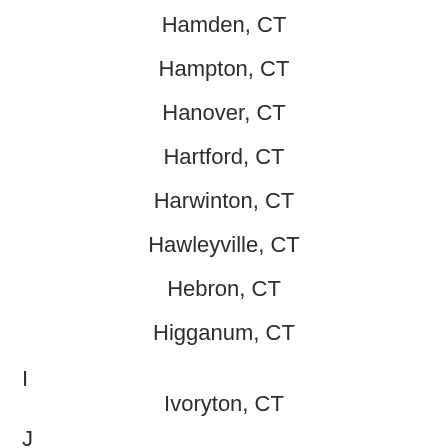Hamden, CT
Hampton, CT
Hanover, CT
Hartford, CT
Harwinton, CT
Hawleyville, CT
Hebron, CT
Higganum, CT
I
Ivoryton, CT
J